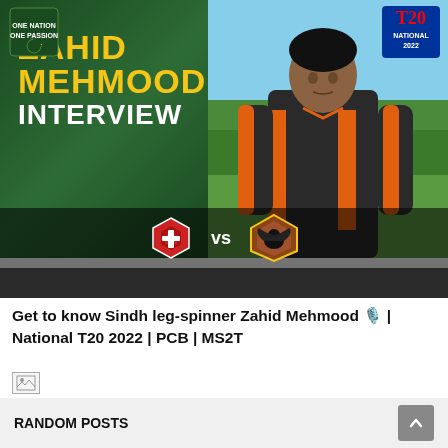[Figure (screenshot): Cricket interview thumbnail showing Zahid Mehmood in orange and black cricket jersey against green/sky background. Left side has dark green panel with text 'ZAHID MEHMOOD INTERVIEW' in gold and white. PCB logo top-left, T20 logo top-right. Bottom bar shows two team crests with VS between them.]
Get to know Sindh leg-spinner Zahid Mehmood 🎙 | National T20 2022 | PCB | MS2T
[Figure (illustration): Broken image placeholder icon]
RANDOM POSTS